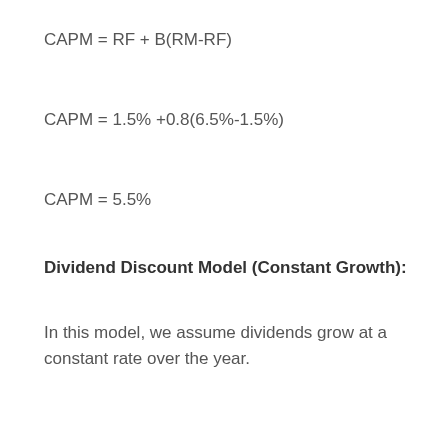Dividend Discount Model (Constant Growth):
In this model, we assume dividends grow at a constant rate over the year.